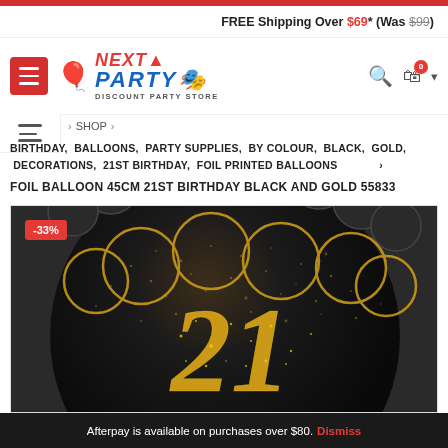FREE Shipping Over $69* (Was $99)
[Figure (logo): Next Party Discount Party Store logo with colorful balloons]
SHOP > BIRTHDAY, BALLOONS, PARTY SUPPLIES, BY COLOUR, BLACK, GOLD, DECORATIONS, 21ST BIRTHDAY, FOIL PRINTED BALLOONS
FOIL BALLOON 45CM 21ST BIRTHDAY BLACK AND GOLD 55833
[Figure (photo): Black and gold foil balloon with '21' printed in gold glitter script on a black background with gold ring decorations, showing -33% discount badge]
Afterpay is available on purchases over $80. Dismiss